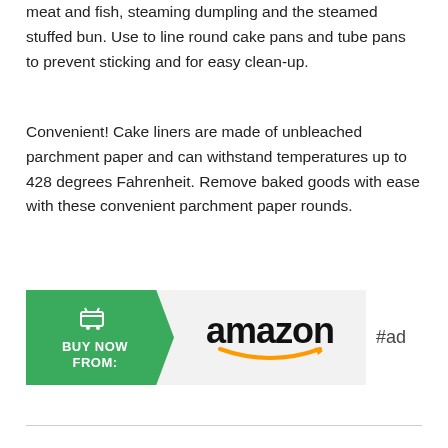meat and fish, steaming dumpling and the steamed stuffed bun. Use to line round cake pans and tube pans to prevent sticking and for easy clean-up.
Convenient! Cake liners are made of unbleached parchment paper and can withstand temperatures up to 428 degrees Fahrenheit. Remove baked goods with ease with these convenient parchment paper rounds.
[Figure (other): Amazon 'Buy Now From:' advertisement button with green arrow on left containing shopping cart icon and 'BUY NOW FROM:' text in white, and Amazon logo with smile on right gray section, followed by '#ad' text]
#ad